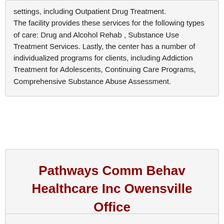settings, including Outpatient Drug Treatment.

The facility provides these services for the following types of care: Drug and Alcohol Rehab , Substance Use Treatment Services. Lastly, the center has a number of individualized programs for clients, including Addiction Treatment for Adolescents, Continuing Care Programs, Comprehensive Substance Abuse Assessment.
Pathways Comm Behav Healthcare Inc Owensville Office